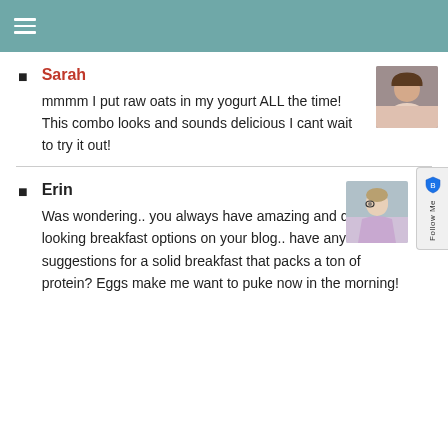≡
Sarah
mmmm I put raw oats in my yogurt ALL the time! This combo looks and sounds delicious I cant wait to try it out!
Erin
Was wondering.. you always have amazing and delicious looking breakfast options on your blog.. have any suggestions for a solid breakfast that packs a ton of protein? Eggs make me want to puke now in the morning!